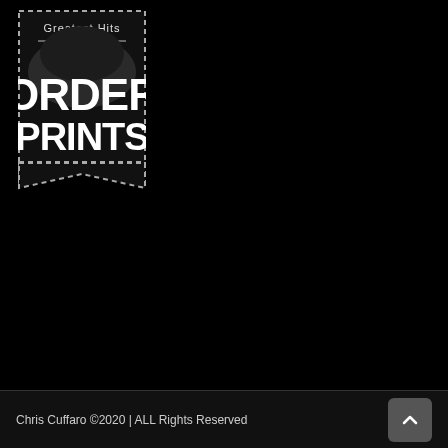[Figure (logo): Greatest Hits Order Prints badge/ribbon logo with dashed border, dark background, star emblem, and ribbon-style bottom notch. Text reads 'Greatest Hits' at top, then 'ORDER PRINTS' in large bold white letters.]
Chris Cuffaro ©2020 | ALL Rights Reserved